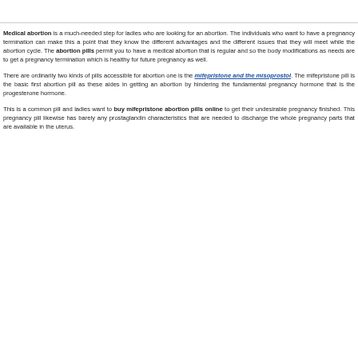Medical abortion is a much-needed step for ladies who are looking for an abortion. The individuals who want to have a pregnancy termination can make this a point that they know the different advantages and the different issues that they will meet while the abortion cycle. The abortion pills permit you to have a medical abortion that is regular and so the body modifications as needs are to get a pregnancy termination which is healthy for future pregnancy as well.
There are ordinarily two kinds of pills accessible for abortion one is the mifepristone and the misoprostol. The mifepristone pill is the basic first abortion pill as these aides in getting an abortion by hindering the fundamental pregnancy hormone that is the progesterone hormone.
This is a common pill and ladies want to buy mifepristone abortion pills online to get their undesirable pregnancy finished. This pregnancy pill likewise has barely any prostaglandin characteristics that are needed to discharge the whole pregnancy parts that are available in the uterus.